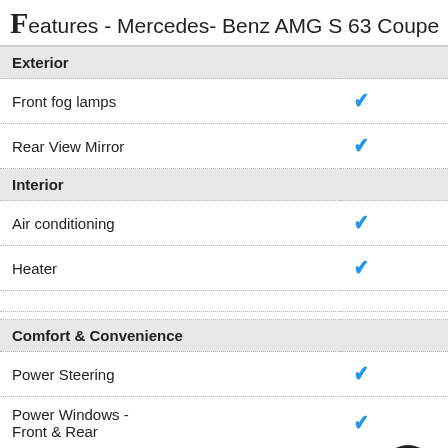Features - Mercedes- Benz AMG S 63 Coupe
| Feature |  |
| --- | --- |
| Exterior |  |
| Front fog lamps | ✓ |
| Rear View Mirror | ✓ |
| Interior |  |
| Air conditioning | ✓ |
| Heater | ✓ |
|  |  |
| Comfort & Convenience |  |
| Power Steering | ✓ |
| Power Windows - Front & Rear | ✓ |
| Safety |  |
| Central locking | ✓ |